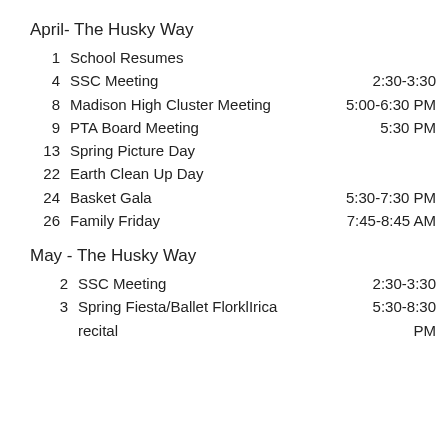April- The Husky Way
1   School Resumes
4   SSC Meeting   2:30-3:30
8   Madison High Cluster Meeting   5:00-6:30 PM
9   PTA Board Meeting   5:30 PM
13  Spring Picture Day
22  Earth Clean Up Day
24  Basket Gala   5:30-7:30 PM
26  Family Friday   7:45-8:45 AM
May - The Husky Way
2   SSC Meeting   2:30-3:30
3   Spring Fiesta/Ballet FlorklIrica recital   5:30-8:30 PM